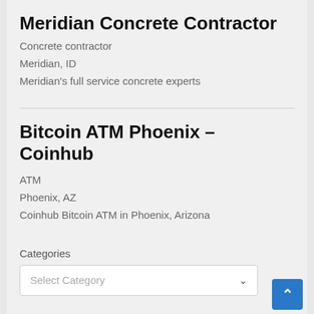Meridian Concrete Contractor
Concrete contractor
Meridian, ID
Meridian's full service concrete experts
Bitcoin ATM Phoenix – Coinhub
ATM
Phoenix, AZ
Coinhub Bitcoin ATM in Phoenix, Arizona
Categories
Select Category